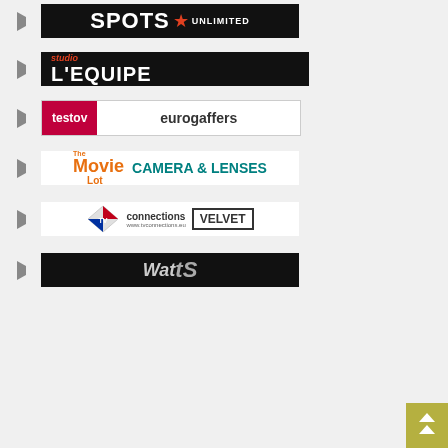[Figure (logo): SPOTS UNLIMITED logo — white bold text on black banner with red star]
[Figure (logo): Studio l'EQUIPE logo — orange 'studio' text and white bold l'EQUIPE on black banner]
[Figure (logo): testov eurogaffers logo — pink/red left panel with 'testov' and white right panel with 'eurogaffers']
[Figure (logo): The Movie Lot CAMERA & LENSES logo — orange Movie Lot script and teal Camera & Lenses text]
[Figure (logo): TV Connections and VELVET combined logo — TV connections red/white logo and Velvet in bordered box]
[Figure (logo): WatTS logo — metallic styled text on black banner]